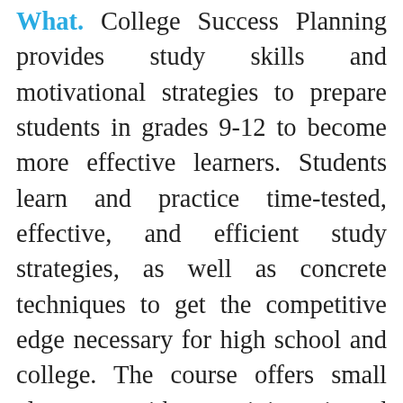What. College Success Planning provides study skills and motivational strategies to prepare students in grades 9-12 to become more effective learners. Students learn and practice time-tested, effective, and efficient study strategies, as well as concrete techniques to get the competitive edge necessary for high school and college. The course offers small classes with activity-oriented lessons to help students learn and practice these study habits of successful students.